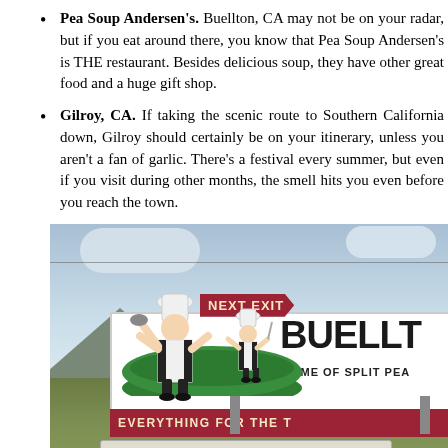Pea Soup Andersen's. Buellton, CA may not be on your radar, but if you eat around there, you know that Pea Soup Andersen's is THE restaurant. Besides delicious soup, they have other great food and a huge gift shop.
Gilroy, CA. If taking the scenic route to Southern California down, Gilroy should certainly be on your itinerary, unless you aren't a fan of garlic. There's a festival every summer, but even if you visit during other months, the smell hits you even before you reach the town.
[Figure (photo): Photograph of a Buellton billboard sign beside a highway, showing two cartoon chef figures, a red 'NEXT EXIT' arrow sign, and text reading 'BUELLTON HOME OF SPLIT PEA' and 'EVERYTHING FOR THE T' on a red band. Mountains and cloudy sky in background.]